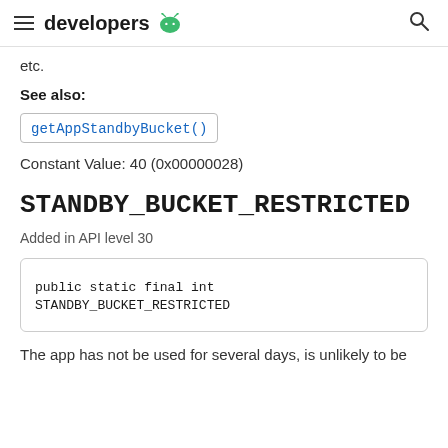developers
etc.
See also:
getAppStandbyBucket()
Constant Value: 40 (0x00000028)
STANDBY_BUCKET_RESTRICTED
Added in API level 30
public static final int STANDBY_BUCKET_RESTRICTED
The app has not be used for several days, is unlikely to be